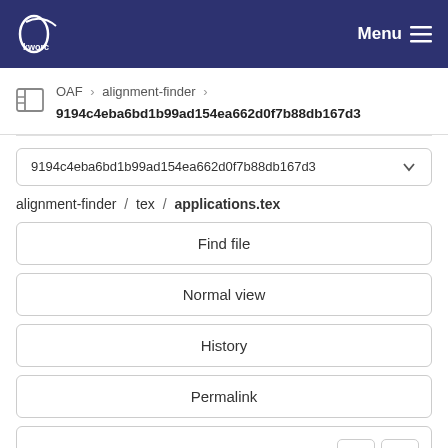KWORC Menu
OAF > alignment-finder > 9194c4eba6bd1b99ad154ea662d0f7b88db167d3
9194c4eba6bd1b99ad154ea662d0f7b88db167d3
alignment-finder / tex / applications.tex
Find file
Normal view
History
Permalink
applications.tex  3.6 KB
Newer  Older